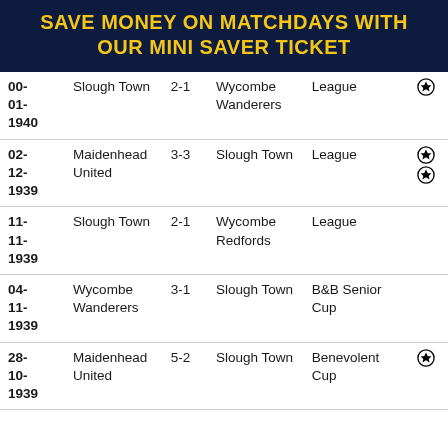SAVE MONEY ON MATCHDAYS WITH OUR MINI SAVER TICKET
| Date | Home | Score | Away | Competition | Goals |
| --- | --- | --- | --- | --- | --- |
| 00-01-1940 | Slough Town | 2-1 | Wycombe Wanderers | League | ⚽ |
| 02-12-1939 | Maidenhead United | 3-3 | Slough Town | League | ⚽⚽ |
| 11-11-1939 | Slough Town | 2-1 | Wycombe Redfords | League |  |
| 04-11-1939 | Wycombe Wanderers | 3-1 | Slough Town | B&B Senior Cup |  |
| 28-10-1939 | Maidenhead United | 5-2 | Slough Town | Benevolent Cup | ⚽ |